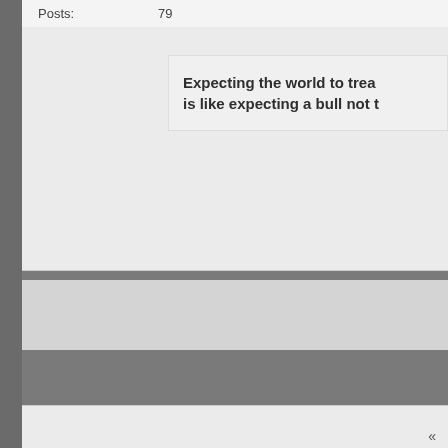| Posts: | 79 |
| --- | --- |
Expecting the world to trea
is like expecting a bull not t
«
Similar Threads
Tilapia
By foodchain in forum Want To Know HOW TO..?
How many tilapia?
By Anthonynaz in forum Fish..?
blue tilapia
By sanford in forum Blue Tilapia
Tilapia Fry
By samtheman in forum Aquaponics Knowhow
White Tilapia
By badflash in forum Nile Tilapia